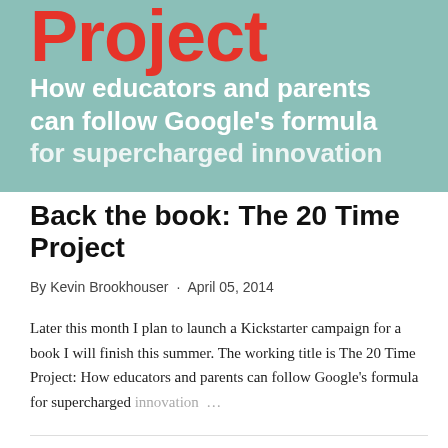[Figure (illustration): Book cover banner with teal/green background showing the title 'Project' in large red bold text and subtitle 'How educators and parents can follow Google's formula for supercharged innovation' in white bold text, partially cropped at top and bottom.]
Back the book: The 20 Time Project
By Kevin Brookhouser · April 05, 2014
Later this month I plan to launch a Kickstarter campaign for a book I will finish this summer. The working title is The 20 Time Project: How educators and parents can follow Google's formula for supercharged innovation ...
SHARE   15 COMMENTS   READ MORE